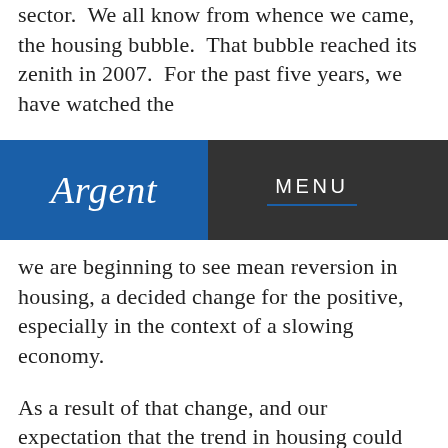sector.  We all know from whence we came, the housing bubble.  That bubble reached its zenith in 2007.  For the past five years, we have watched the
Argent | MENU
we are beginning to see mean reversion in housing, a decided change for the positive, especially in the context of a slowing economy.
As a result of that change, and our expectation that the trend in housing could stay positive for some time, we have selectively added Lowe's Cos (LOW), SunTrust Banks (STI) and Williams-Sonoma Inc. (WSM), all expected beneficiaries of mean reversion in U.S. housing.  At the same time, it is not lost on us that these companies are substantially unaffected by headwinds in Europe and China.